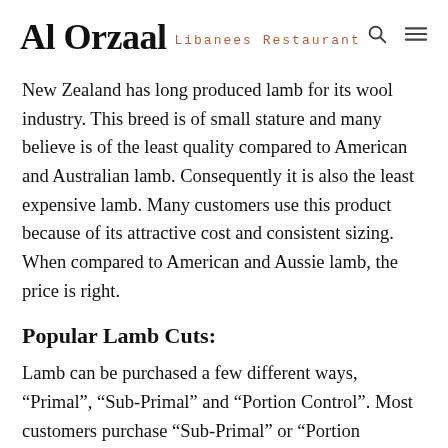Al Orzaal Libanees Restaurant
New Zealand has long produced lamb for its wool industry. This breed is of small stature and many believe is of the least quality compared to American and Australian lamb. Consequently it is also the least expensive lamb. Many customers use this product because of its attractive cost and consistent sizing. When compared to American and Aussie lamb, the price is right.
Popular Lamb Cuts:
Lamb can be purchased a few different ways, “Primal”, “Sub-Primal” and “Portion Control”. Most customers purchase “Sub-Primal” or “Portion Control”. Unlike beef, when lamb is